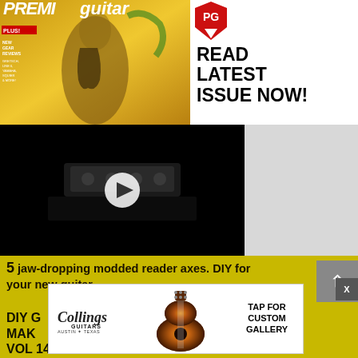[Figure (photo): Premier Guitar magazine cover showing a musician in a colorful yellow floral jacket holding a Gibson guitar, with text 'PLUS! NEW GEAR REVIEWS GRETSCH, LINE 6, YAMAHA, SQUIER & MORE!']
[Figure (logo): Premier Guitar PG logo in red with downward arrow]
READ LATEST ISSUE NOW!
[Figure (screenshot): Video player with black background showing a guitar pedalboard/effects unit with a white play button in the center]
5 jaw-dropping modded reader axes. DIY for your new guitar.
DIY G MAK VOL 14
[Figure (illustration): Collings Guitars advertisement showing a sunburst acoustic guitar and text 'TAP FOR CUSTOM GALLERY', Collings Guitars Austin Texas logo]